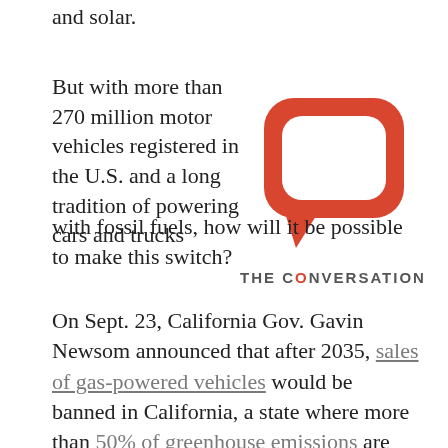and solar.
But with more than 270 million motor vehicles registered in the U.S. and a long tradition of powering cars and trucks with fossil fuels, how will it be possible to make this switch?
[Figure (logo): The Conversation logo: red speech bubble icon above the text 'THE CONVERSATION' in bold grey uppercase with a red O]
On Sept. 23, California Gov. Gavin Newsom announced that after 2035, sales of gas-powered vehicles would be banned in California, a state where more than 50% of greenhouse emissions are generated by transportation. This ban includes gas-electric hybrid vehicles and, more generally, any vehicle with tailpipe